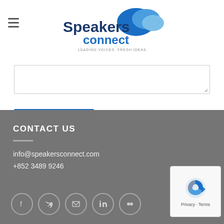[Figure (logo): Speakers Connect logo with speech bubble icons and tagline 'LEADING VOICES. FRESH IDEAS.']
[Figure (other): Text area input box with resize handle in bottom-right corner]
SEND
CONTACT US
info@speakersconnect.com
+852 3489 9246
[Figure (other): Social media icons: Facebook, Twitter, Email, LinkedIn, Flickr]
[Figure (other): reCAPTCHA badge with Privacy and Terms links]